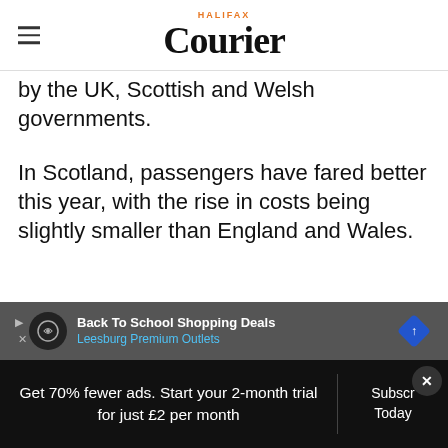Halifax Courier
by the UK, Scottish and Welsh governments.
In Scotland, passengers have fared better this year, with the rise in costs being slightly smaller than England and Wales.
[Figure (screenshot): Advertisement placeholder box with label 'Advertisement']
The Scottish government imposed
[Figure (screenshot): Bottom advertisement banner: Back To School Shopping Deals – Leesburg Premium Outlets, with circular logo and diamond road sign icon]
Get 70% fewer ads. Start your 2-month trial for just £2 per month
Subscribe Today